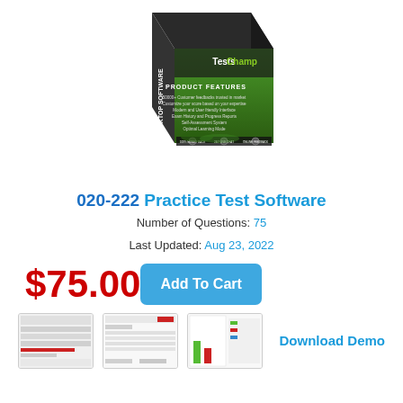[Figure (illustration): TestsChamp desktop software product box with green and dark design, showing 'PRODUCT FEATURES' and certification badges]
020-222 Practice Test Software
Number of Questions: 75
Last Updated: Aug 23, 2022
$75.00
Add To Cart
[Figure (screenshot): Thumbnail screenshot 1 of practice test software interface]
[Figure (screenshot): Thumbnail screenshot 2 of practice test software interface]
[Figure (screenshot): Thumbnail screenshot 3 of practice test software showing bar chart]
Download Demo